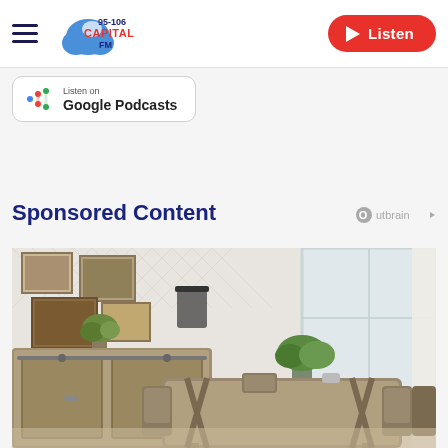[Figure (logo): Capital FM 95-106 logo with hamburger menu icon]
[Figure (logo): Listen on Google Podcasts button]
Sponsored Content
[Figure (logo): Outbrain logo]
[Figure (photo): Dining room interior with wooden table, chairs, sideboard, framed artwork on herringbone wallpaper, and potted plants]